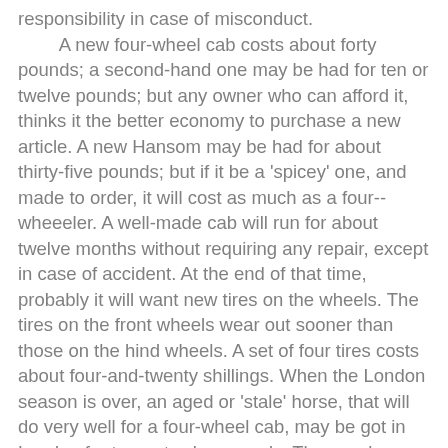responsibility in case of misconduct. A new four-wheel cab costs about forty pounds; a second-hand one may be had for ten or twelve pounds; but any owner who can afford it, thinks it the better economy to purchase a new article. A new Hansom may be had for about thirty-five pounds; but if it be a 'spicey' one, and made to order, it will cost as much as a four--wheeeler. A well-made cab will run for about twelve months without requiring any repair, except in case of accident. At the end of that time, probably it will want new tires on the wheels. The tires on the front wheels wear out sooner than those on the hind wheels. A set of four tires costs about four-and-twenty shillings. When the London season is over, an aged or 'stale' horse, that will do very well for a four-wheel cab, may be got in London for ten or twelve pounds. Those cab-owners who have a little capital generally purchase young horses in Ireland or at fairs in this country. For a Hansom, quite a different style of horse